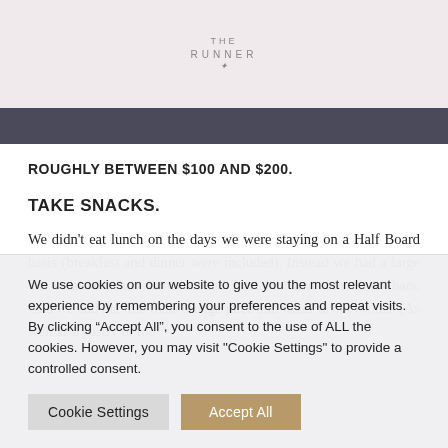THE RUNNER
ROUGHLY BETWEEN $100 AND $200.
TAKE SNACKS.
We didn't eat lunch on the days we were staying on a Half Board basis (breakfast and dinner were included). Instead we had a large late breakfast, then dinner around 7pm. I'd taken some snack bars. And we had the free fresh orange juice and water in our rooms. (As well as a pastry or too
We use cookies on our website to give you the most relevant experience by remembering your preferences and repeat visits. By clicking “Accept All”, you consent to the use of ALL the cookies. However, you may visit "Cookie Settings" to provide a controlled consent.